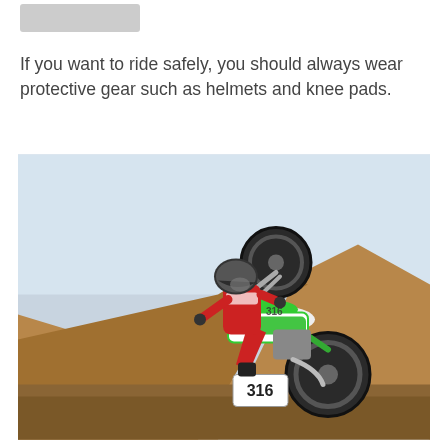If you want to ride safely, you should always wear protective gear such as helmets and knee pads.
[Figure (photo): A motocross rider wearing a red suit and helmet performing a wheelie on a green dirt bike numbered 316, with sandy hills in the background under a pale sky.]